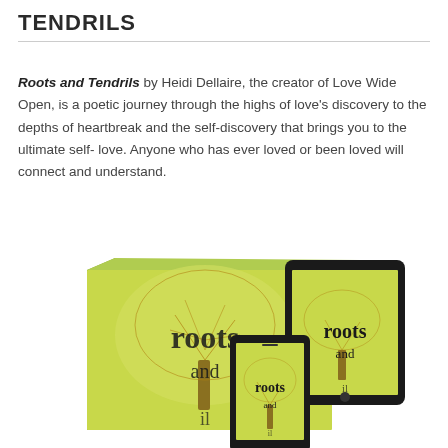TENDRILS
Roots and Tendrils by Heidi Dellaire, the creator of Love Wide Open, is a poetic journey through the highs of love's discovery to the depths of heartbreak and the self-discovery that brings you to the ultimate self-love. Anyone who has ever loved or been loved will connect and understand.
[Figure (photo): Book cover mockup showing physical book, tablet, and smartphone displaying the 'roots and tendrils' book cover with a yellow-green background featuring a tree illustration]